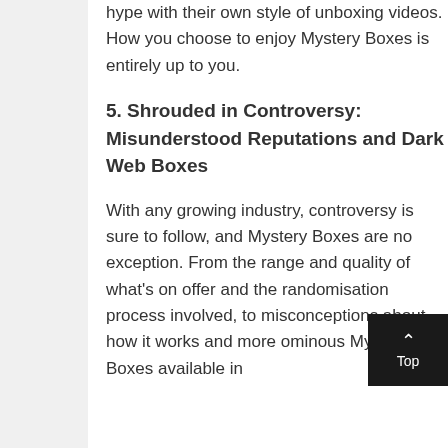hype with their own style of unboxing videos. How you choose to enjoy Mystery Boxes is entirely up to you.
5. Shrouded in Controversy: Misunderstood Reputations and Dark Web Boxes
With any growing industry, controversy is sure to follow, and Mystery Boxes are no exception. From the range and quality of what's on offer and the randomisation process involved, to misconceptions about how it works and more ominous Mystery Boxes available in